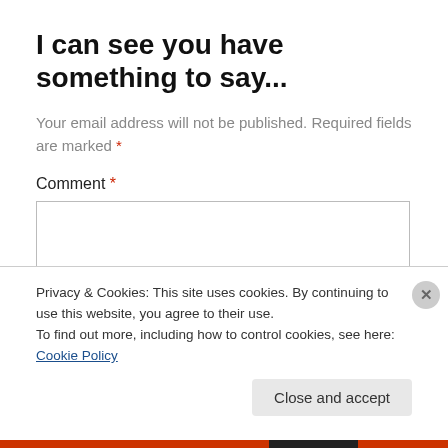I can see you have something to say...
Your email address will not be published. Required fields are marked *
Comment *
[Figure (screenshot): Empty comment text area input box]
Privacy & Cookies: This site uses cookies. By continuing to use this website, you agree to their use.
To find out more, including how to control cookies, see here: Cookie Policy
Close and accept